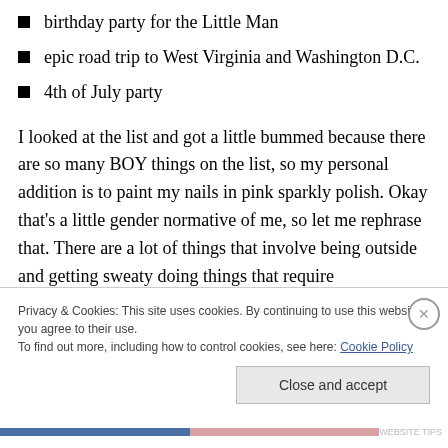birthday party for the Little Man
epic road trip to West Virginia and Washington D.C.
4th of July party
I looked at the list and got a little bummed because there are so many BOY things on the list, so my personal addition is to paint my nails in pink sparkly polish. Okay that’s a little gender normative of me, so let me rephrase that. There are a lot of things that involve being outside and getting sweaty doing things that require coordination. So I’ve added an activity that requires sitting still in my air-
Privacy & Cookies: This site uses cookies. By continuing to use this website, you agree to their use.
To find out more, including how to control cookies, see here: Cookie Policy